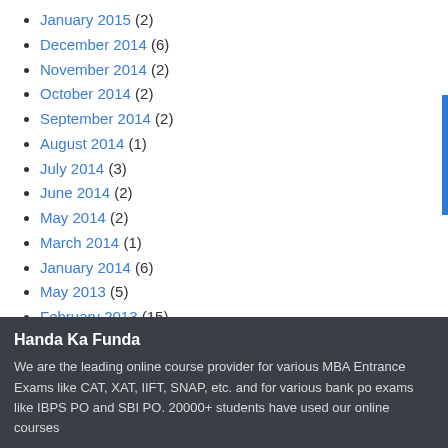January 2015 (2)
December 2014 (6)
November 2014 (2)
October 2014 (2)
September 2014 (2)
August 2014 (1)
July 2014 (3)
June 2014 (2)
May 2014 (2)
March 2014 (1)
January 2014 (6)
May 2013 (5)
February 2013 (15)
January 2013 (3)
Handa Ka Funda
We are the leading online course provider for various MBA Entrance Exams like CAT, XAT, IIFT, SNAP, etc. and for various bank po exams like IBPS PO and SBI PO. 20000+ students have used our online courses